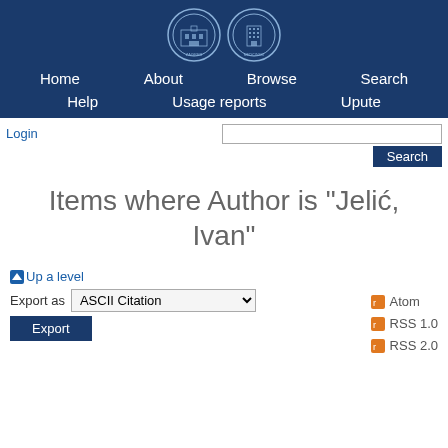[Figure (logo): Two circular institutional logos on dark blue navigation bar - left is a university seal, right shows a building (medical faculty)]
Home   About   Browse   Search   Help   Usage reports   Upute
Login
Items where Author is "Jelić, Ivan"
Up a level
Export as  ASCII Citation
Export
Atom
RSS 1.0
RSS 2.0